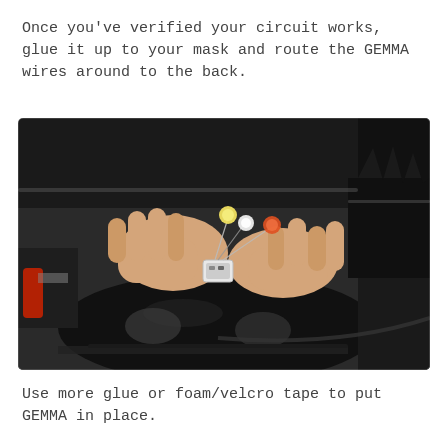Once you've verified your circuit works, glue it up to your mask and route the GEMMA wires around to the back.
[Figure (photo): Hands holding a black decorative mask and attaching a small GEMMA electronics board with colored LED wires on a dark work surface.]
Use more glue or foam/velcro tape to put GEMMA in place.